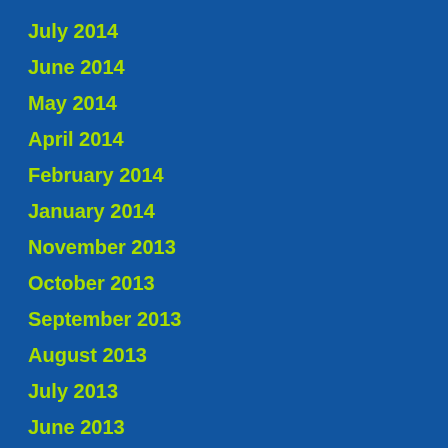July 2014
June 2014
May 2014
April 2014
February 2014
January 2014
November 2013
October 2013
September 2013
August 2013
July 2013
June 2013
May 2013
April 2013